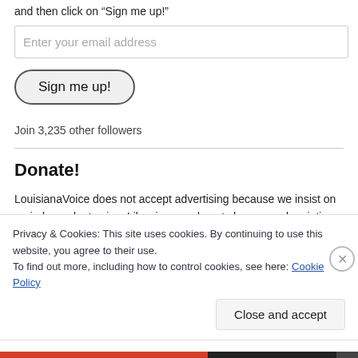and then click on “Sign me up!”
Enter your email address
Sign me up!
Join 3,235 other followers
Donate!
LouisianaVoice does not accept advertising because we insist on an independent voice. Likewise, we do not charge a subscription fee for
Privacy & Cookies: This site uses cookies. By continuing to use this website, you agree to their use.
To find out more, including how to control cookies, see here: Cookie Policy
Close and accept